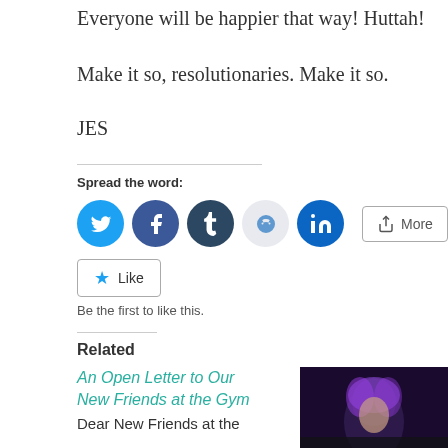Everyone will be happier that way! Huttah!
Make it so, resolutionaries. Make it so.
JES
Spread the word:
[Figure (infographic): Social share buttons: Twitter (blue), Facebook (blue), Tumblr (dark navy), Reddit (light blue/gray), LinkedIn (dark teal), and a More button with share icon.]
Like
Be the first to like this.
Related
An Open Letter to Our New Friends at the Gym
Dear New Friends at the
[Figure (photo): A person with purple/pink hair in a dark setting, partially visible.]